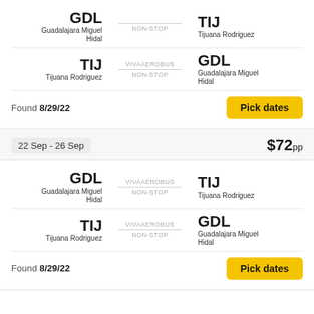GDL – Guadalajara Miguel Hidal → TIJ – Tijuana Rodriguez, NON-STOP
TIJ – Tijuana Rodriguez → GDL – Guadalajara Miguel Hidal, VIVAAEROBUS, NON-STOP
Found 8/29/22
Pick dates
22 Sep - 26 Sep   $72pp
GDL – Guadalajara Miguel Hidal → TIJ – Tijuana Rodriguez, VIVAAEROBUS, NON-STOP
TIJ – Tijuana Rodriguez → GDL – Guadalajara Miguel Hidal, VIVAAEROBUS, NON-STOP
Found 8/29/22
Pick dates